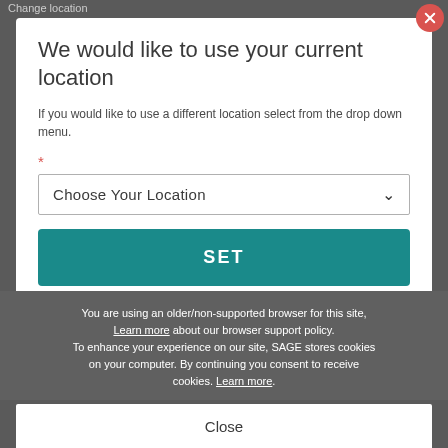Change location
We would like to use your current location
If you would like to use a different location select from the drop down menu.
Choose Your Location
SET
You are using an older/non-supported browser for this site, Learn more about our browser support policy. To enhance your experience on our site, SAGE stores cookies on your computer. By continuing you consent to receive cookies. Learn more.
Close